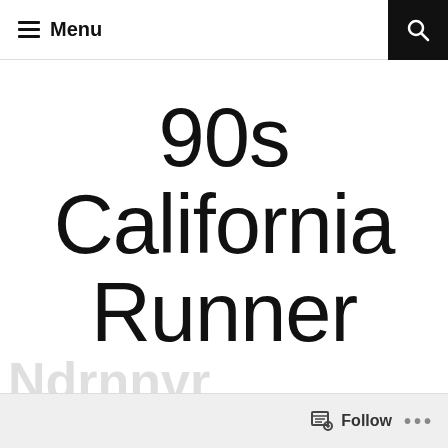≡ Menu
90s California Runner
Follow ...